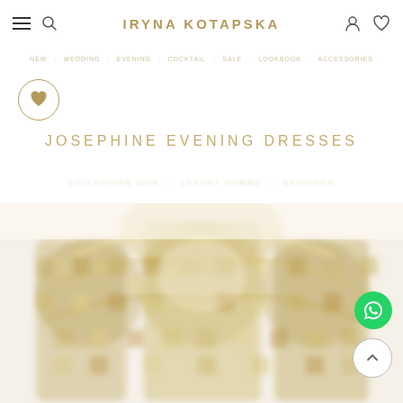IRYNA KOTAPSKA
JOSEPHINE EVENING DRESSES
[Figure (photo): Blurred/pixelated product image of an ornate embellished evening dress in gold and cream tones with intricate bead/crystal detailing, showing the upper bodice area cropped at bottom of page]
[Figure (other): WhatsApp contact button (green circle with phone/chat icon) in bottom right corner]
[Figure (other): Back-to-top arrow button (white circle with upward chevron) in bottom right corner]